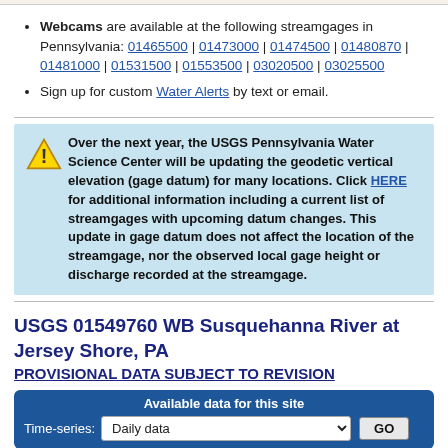Webcams are available at the following streamgages in Pennsylvania: 01465500 | 01473000 | 01474500 | 01480870 | 01481000 | 01531500 | 01553500 | 03020500 | 03025500
Sign up for custom Water Alerts by text or email.
Over the next year, the USGS Pennsylvania Water Science Center will be updating the geodetic vertical elevation (gage datum) for many locations. Click HERE for additional information including a current list of streamgages with upcoming datum changes. This update in gage datum does not affect the location of the streamgage, nor the observed local gage height or discharge recorded at the streamgage.
USGS 01549760 WB Susquehanna River at Jersey Shore, PA
PROVISIONAL DATA SUBJECT TO REVISION
Available data for this site
Time-series: Daily data GO
Click to hide station-specific text